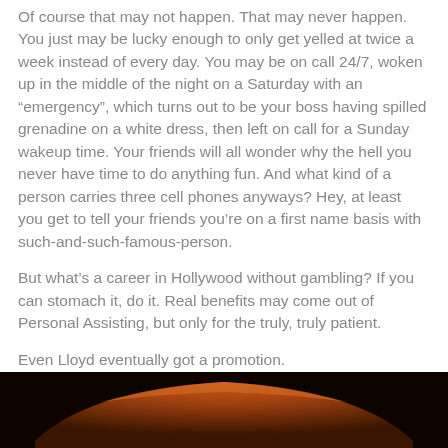Of course that may not happen. That may never happen. You just may be lucky enough to only get yelled at twice a week instead of every day. You may be on call 24/7, woken up in the middle of the night on a Saturday with an “emergency”, which turns out to be your boss having spilled grenadine on a white dress, then left on call for a Sunday wakeup time. Your friends will all wonder why the hell you never have time to do anything fun. And what kind of a person carries three cell phones anyways? Hey, at least you get to tell your friends you’re on a first name basis with such-and-such-famous-person.
But what’s a career in Hollywood without gambling? If you can stomach it, do it. Real benefits may come out of Personal Assisting, but only for the truly, truly patient.
Even Lloyd eventually got a promotion.
[Figure (photo): Dark photo showing the roof of a car, orange/brown tones against a very dark background]